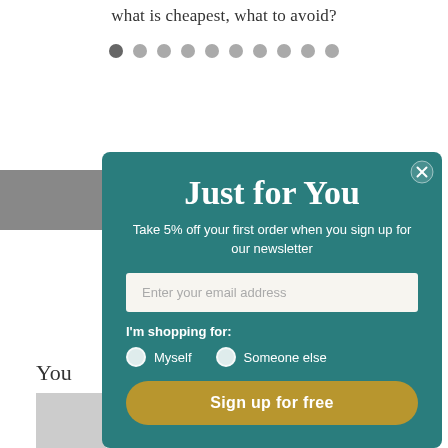what is cheapest, what to avoid?
[Figure (other): Row of 10 pagination dots, first dot darker (active), rest gray]
[Figure (screenshot): Modal popup with teal background. Title: Just for You. Subtitle: Take 5% off your first order when you sign up for our newsletter. Email input field with placeholder Enter your email address. Radio buttons: I'm shopping for: Myself / Someone else. Gold Sign up for free button. Close (X) button in top right corner.]
You